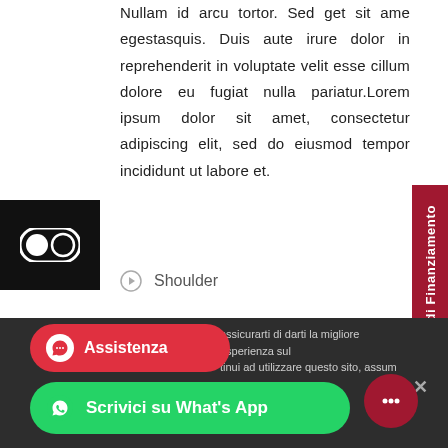Nullam id arcu tortor. Sed get sit ame egestasquis. Duis aute irure dolor in reprehenderit in voluptate velit esse cillum dolore eu fugiat nulla pariatur.Lorem ipsum dolor sit amet, consectetur adipiscing elit, sed do eiusmod tempor incididunt ut labore et.
[Figure (illustration): Toggle/switch icon in white on black background]
[Figure (illustration): Richiedi Finanziamento red vertical sidebar button]
Shoulder
assicurarti di darti la migliore esperienza sul ... tinui ad utilizzare questo sito, assum...
Assistenza
Scrivici su What's App